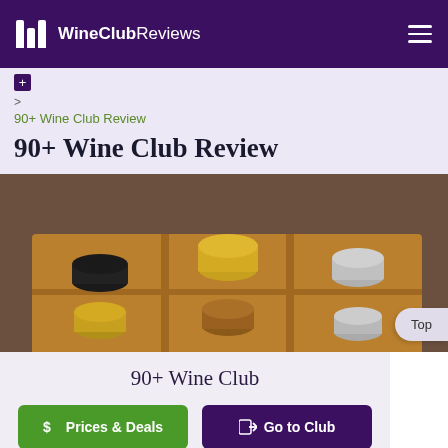WineClubReviews
+ > 90+ Wine Club Review
90+ Wine Club Review
[Figure (photo): Wine bottles in a divided cardboard gift box, viewed from above, showing gold, black, silver, and copper foil tops on a brown background.]
90+ Wine Club
$ Prices & Deals | [->] Go to Club